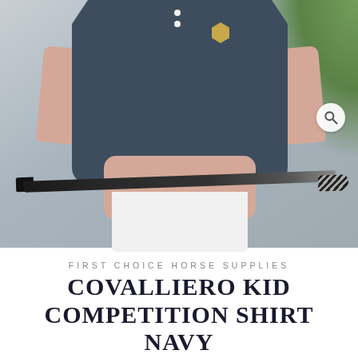[Figure (photo): A child wearing a navy blue short-sleeve competition polo shirt with a gold shield logo, white riding breeches, holding a black riding crop horizontally in both hands. Background is a blurred outdoor gravel and greenery setting. A magnifying glass icon appears in the bottom-right corner of the image.]
FIRST CHOICE HORSE SUPPLIES
COVALLIERO KID COMPETITION SHIRT NAVY